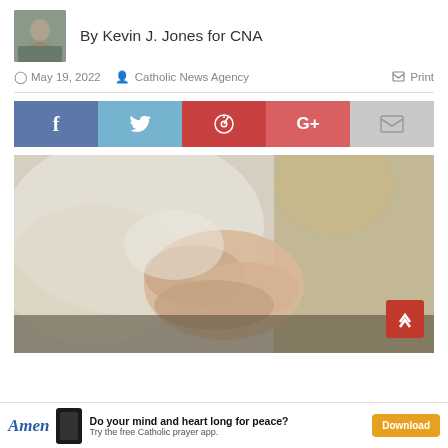[Figure (photo): Headshot photo of Kevin J. Jones, author]
By Kevin J. Jones for CNA
May 19, 2022  Catholic News Agency  Print
[Figure (infographic): Social share buttons: Facebook, Twitter, Pinterest, Google+, Email]
[Figure (photo): Close-up photo of two people holding hands, one person comforting another]
[Figure (infographic): Amen app advertisement: Do your mind and heart long for peace? Try the free Catholic prayer app. Download button.]